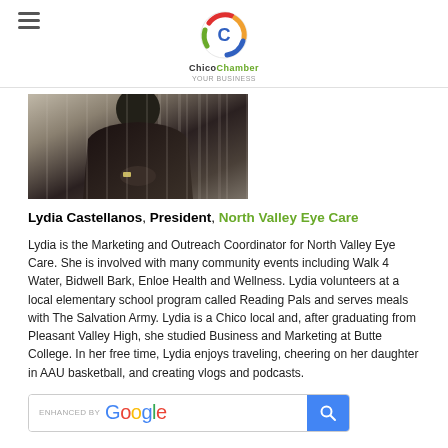Chico Chamber
[Figure (photo): Photo of Lydia Castellanos, a woman in dark clothing with hands clasped in front, partial view from waist up]
Lydia Castellanos, President, North Valley Eye Care
Lydia is the Marketing and Outreach Coordinator for North Valley Eye Care. She is involved with many community events including Walk 4 Water, Bidwell Bark, Enloe Health and Wellness. Lydia volunteers at a local elementary school program called Reading Pals and serves meals with The Salvation Army. Lydia is a Chico local and, after graduating from Pleasant Valley High, she studied Business and Marketing at Butte College. In her free time, Lydia enjoys traveling, cheering on her daughter in AAU basketball, and creating vlogs and podcasts.
[Figure (screenshot): Enhanced by Google search bar]